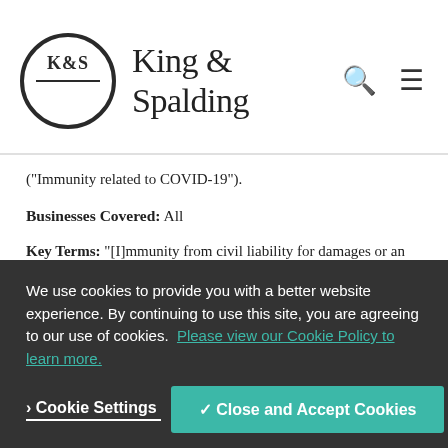King & Spalding
("Immunity related to COVID-19").
Businesses Covered: All
Key Terms: "[I]mmunity from civil liability for damages or an injury resulting from exposure of an individual to COVID-19 on the premises owned or operated by the person, or during an activity managed by the person."
Exceptions/Waivers:
We use cookies to provide you with a better website experience. By continuing to use this site, you are agreeing to our use of cookies. Please view our Cookie Policy to learn more.
Cookie Settings | Close and Accept Cookies